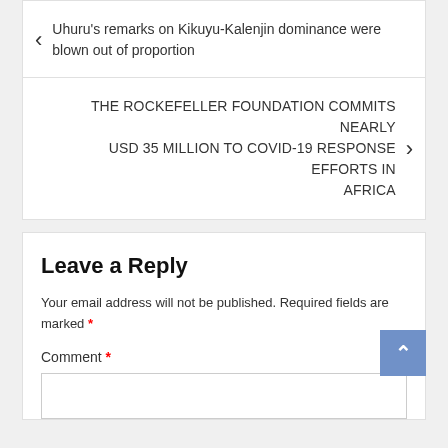< Uhuru's remarks on Kikuyu-Kalenjin dominance were blown out of proportion
THE ROCKEFELLER FOUNDATION COMMITS NEARLY USD 35 MILLION TO COVID-19 RESPONSE EFFORTS IN AFRICA >
Leave a Reply
Your email address will not be published. Required fields are marked *
Comment *